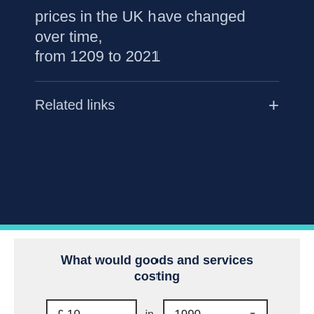prices in the UK have changed over time, from 1209 to 2021
Related links
What would goods and services costing
£ 10 in 1990
cost in 2021 ?